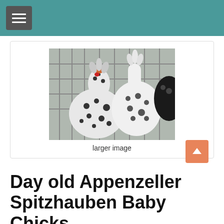[Figure (photo): Photo of Appenzeller Spitzhauben chickens in a wire cage, showing their distinctive spotted black and white feathers and crested heads. Two birds visible prominently, with a third partially visible on the right.]
larger image
Day old Appenzeller Spitzhauben Baby Chicks
Hatching February to May.
Appenzeller Spitzhauben are interesting looking birds.